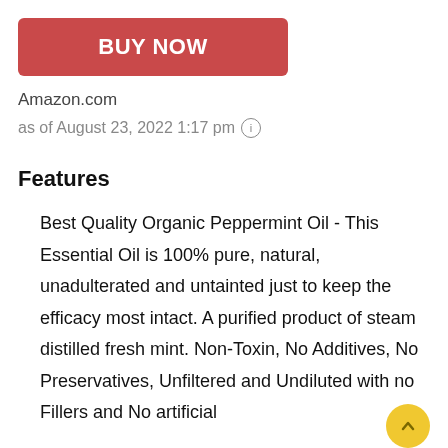[Figure (other): Red 'BUY NOW' button]
Amazon.com
as of August 23, 2022 1:17 pm ℹ
Features
Best Quality Organic Peppermint Oil - This Essential Oil is 100% pure, natural, unadulterated and untainted just to keep the efficacy most intact. A purified product of steam distilled fresh mint. Non-Toxin, No Additives, No Preservatives, Unfiltered and Undiluted with no Fillers and No artificial